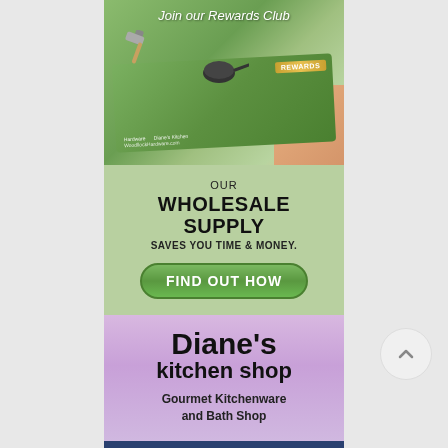[Figure (photo): A rewards club card showing kitchen items including a hammer and a frying pan, held by a hand. Text reads 'REWARDS' on the card, with 'Hardware', 'Diane's Kitchen', and website URL visible on the card.]
Join our Rewards Club
OUR WHOLESALE SUPPLY SAVES YOU TIME & MONEY.
FIND OUT HOW
Diane's kitchen shop
Gourmet Kitchenware and Bath Shop
DIANE'S KITCHEN